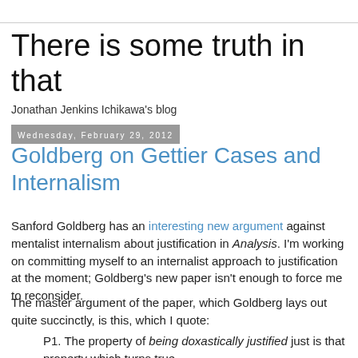There is some truth in that
Jonathan Jenkins Ichikawa's blog
Wednesday, February 29, 2012
Goldberg on Gettier Cases and Internalism
Sanford Goldberg has an interesting new argument against mentalist internalism about justification in Analysis. I'm working on committing myself to an internalist approach to justification at the moment; Goldberg's new paper isn't enough to force me to reconsider.
The master argument of the paper, which Goldberg lays out quite succinctly, is this, which I quote:
P1. The property of being doxastically justified just is that property which turns true